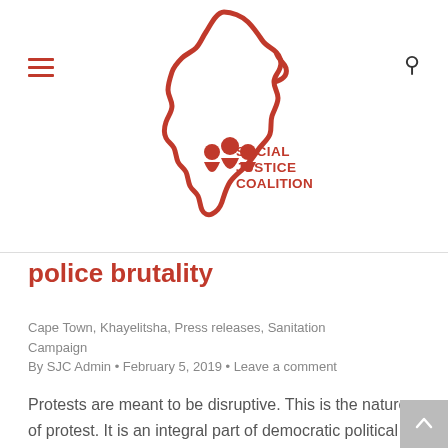Social Justice Coalition
police brutality
Cape Town, Khayelitsha, Press releases, Sanitation Campaign
By SJC Admin • February 5, 2019 • Leave a comment
Protests are meant to be disruptive. This is the nature of protest. It is an integral part of democratic political participation. Yet, government has consistently stifled protest and brutalised activists – and in particular poor, Black activists.What SAPS and the City of Cape Town did was abhorrent. It was violent, uncalled for and reminiscent of...